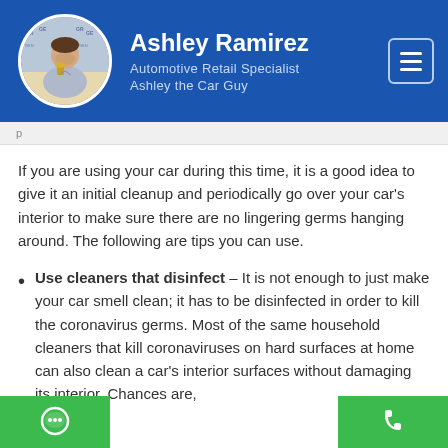[Figure (other): Website header with circular profile photo of Ashley Ramirez, name, title 'Automotive Retail Specialist', subtitle 'Ashley the Car Guy', and hamburger menu icon, on a blue background.]
If you are using your car during this time, it is a good idea to give it an initial cleanup and periodically go over your car's interior to make sure there are no lingering germs hanging around. The following are tips you can use.
Use cleaners that disinfect – It is not enough to just make your car smell clean; it has to be disinfected in order to kill the coronavirus germs. Most of the same household cleaners that kill coronaviruses on hard surfaces at home can also clean a car's interior surfaces without damaging its interior. Chances are,